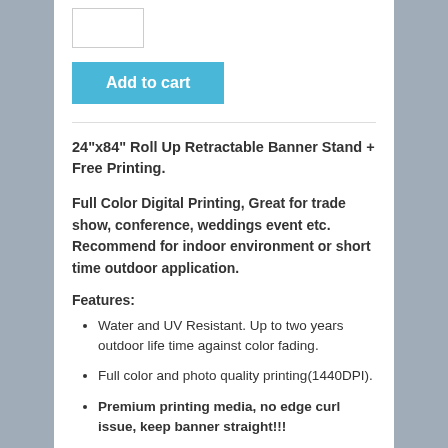[Figure (other): Quantity input box (empty text field)]
[Figure (other): Add to cart button in teal/cyan color with white bold text 'Add to cart']
24"x84" Roll Up Retractable Banner Stand + Free Printing.
Full Color Digital Printing, Great for trade show, conference, weddings event etc.  Recommend for indoor environment or short time outdoor application.
Features:
Water and UV Resistant. Up to two years outdoor life time against color fading.
Full color and photo quality printing(1440DPI).
Premium printing media, no edge curl issue, keep banner straight!!!